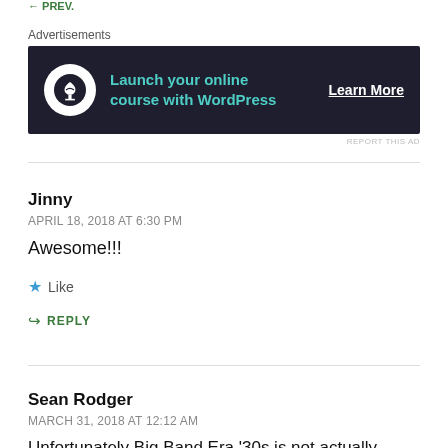← PREV.
Advertisements
[Figure (infographic): Dark navy ad banner for WordPress online course with bonsai tree icon, teal text 'Launch your online course with WordPress', and white underlined 'Learn More' button]
REPORT THIS AD
Jinny
APRIL 18, 2018 AT 6:30 PM
Awesome!!!
Like
REPLY
Sean Rodger
MARCH 31, 2018 AT 12:12 AM
Unfortunately Big Band Era '30s is not actually